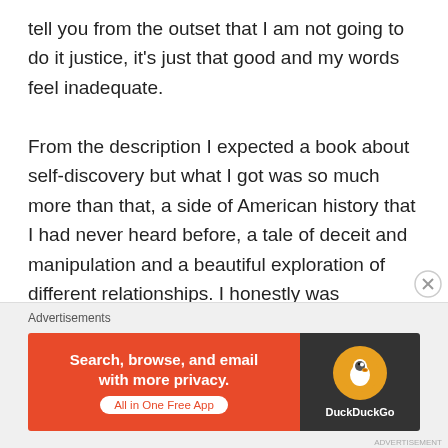tell you from the outset that I am not going to do it justice, it's just that good and my words feel inadequate.

From the description I expected a book about self-discovery but what I got was so much more than that, a side of American history that I had never heard before, a tale of deceit and manipulation and a beautiful exploration of different relationships. I honestly was transfixed with this book as soon as I started reading, it just has a way of drawing you in with writing that easily transports you into its Southern atmosphere.
[Figure (infographic): DuckDuckGo advertisement banner: orange section with text 'Search, browse, and email with more privacy. All in One Free App' and dark section with DuckDuckGo logo duck icon and brand name.]
Advertisements